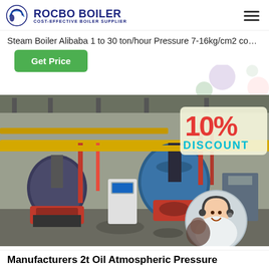[Figure (logo): Rocbo Boiler logo with circular icon and text 'ROCBO BOILER / COST-EFFECTIVE BOILER SUPPLIER']
Steam Boiler Alibaba 1 to 30 ton/hour Pressure 7-16kg/cm2 coal-...
[Figure (other): Green 'Get Price' button]
[Figure (photo): Industrial boiler room with multiple large blue cylindrical boilers, yellow pipes, a 10% DISCOUNT badge overlay, and a customer service representative in a circular inset photo]
Manufacturers 2t Oil Atmospheric Pressure